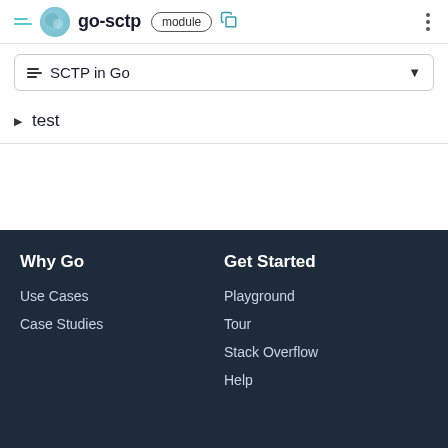go-sctp module
≡ SCTP in Go
▶ test
Why Go | Use Cases | Case Studies | Get Started | Playground | Tour | Stack Overflow | Help